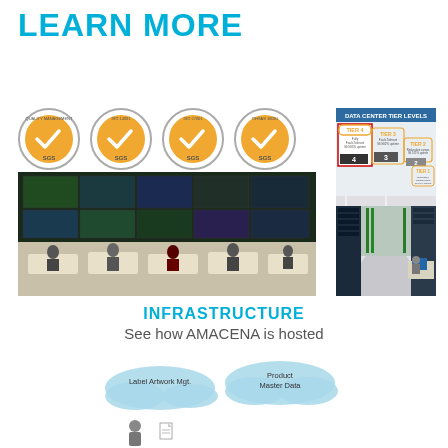LEARN MORE
[Figure (logo): Four SGS certification badges in a row]
[Figure (infographic): Data Center Tier Levels diagram showing Tier 1 through Tier 4]
[Figure (photo): Control room with monitors and people working at workstations]
[Figure (photo): Server room corridor with server racks and a computer workstation]
INFRASTRUCTURE
See how AMACENA is hosted
[Figure (infographic): Cloud diagram showing Label Artwork Mgt. and Product Master Data]